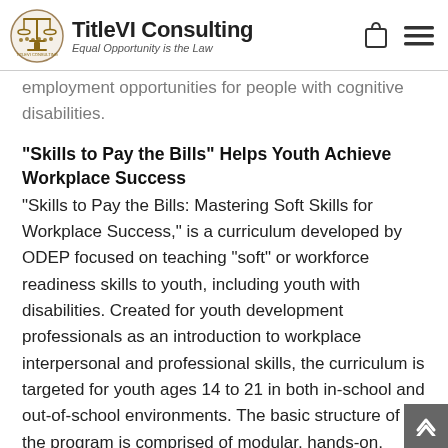TitleVI Consulting — Equal Opportunity is the Law
employment opportunities for people with cognitive disabilities.
“Skills to Pay the Bills” Helps Youth Achieve Workplace Success
“Skills to Pay the Bills: Mastering Soft Skills for Workplace Success,” is a curriculum developed by ODEP focused on teaching “soft” or workforce readiness skills to youth, including youth with disabilities. Created for youth development professionals as an introduction to workplace interpersonal and professional skills, the curriculum is targeted for youth ages 14 to 21 in both in-school and out-of-school environments. The basic structure of the program is comprised of modular, hands-on, engaging activities that focus on six key skill areas: communicatio